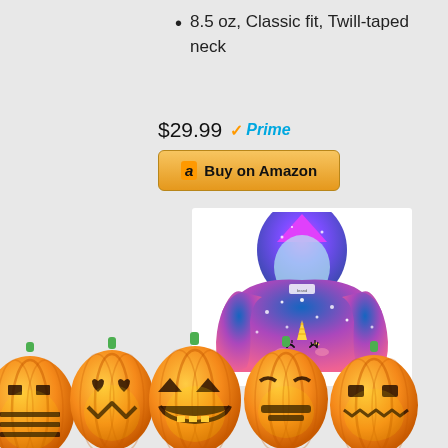8.5 oz, Classic fit, Twill-taped neck
$29.99 ✓Prime
[Figure (screenshot): Buy on Amazon button with Amazon logo]
[Figure (photo): Colorful galaxy unicorn hoodie sweatshirt for kids with pink and purple hood and blue body with unicorn face graphic]
[Figure (illustration): Row of five Halloween jack-o-lantern pumpkins with different carved faces along the bottom of the page]